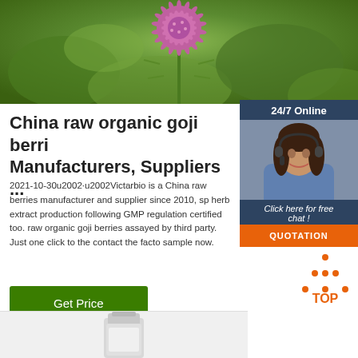[Figure (photo): Close-up photo of a purple/pink thistle flower with green foliage background]
China raw organic goji berri Manufacturers, Suppliers ...
2021-10-30u2002·u2002Victarbio is a China raw berries manufacturer and supplier since 2010, sp herb extract production following GMP regulation certified too. raw organic goji berries assayed by third party. Just one click to the contact the facto sample now.
[Figure (photo): Customer service representative with headset, 24/7 Online chat widget with QUOTATION button]
[Figure (photo): Product bottle image at the bottom of the page]
[Figure (other): TOP navigation button with orange dot triangle icon]